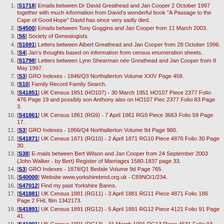1. [S1718] Emails between Dr David Greathead and Jan Cooper 2 October 1997 together with much information from David's wonderful book "A Passage to the Cape of Good Hope" David has since very sadly died.
2. [S4500] Emails between Tony Goggins and Jan Cooper from 11 March 2003.
3. [S6] Society of Genealogists.
4. [S1691] Letters between Albert Greathead and Jan Cooper from 28 October 1996.
5. [S4] Jan's thoughts based on information from census enumeration sheets.
6. [S1798] Letters between Lynn Shearman née Greathead and Jan Cooper from 8 May 1997.
7. [S3] GRO Indexes - 1846/Q3 Northallerton Volume XXIV Page 459.
8. [S10] Family Record Family Search.
9. [S41851] UK Census 1851 (HO107) - 30 March 1851 HO107 Piece 2377 Folio 476 Page 19 and possibly son Anthony also on HO107 Piec 2377 Folio 83 Page 3.
10. [S41861] UK Census 1861 (RG9) - 7 April 1861 RG9 Piece 3663 Folio 59 Page 17.
11. [S3] GRO Indexes - 1866/Q4 Northallerton Volume 9d Page 980.
12. [S41871] UK Census 1871 (RG10) - 2 April 1871 RG10 Piece 4876 Folio 30 Page 30.
13. [S38] E-mails between Bert Wilson and Jan Cooper from 24 September 2003 (John Walker - by Bert) Register of Marriages 1580-1837 page 33.
14. [S3] GRO Indexes - 1878/Q1 Bedale Volume 9d Page 765.
15. [S40000] Website www.yorkshirebmd.org.uk - C69NO/1/234.
16. [S47012] Find my past Yorkshire Banns.
17. [S41881] UK Census 1881 (RG11) - 3 April 1881 RG11 Piece 4871 Folio 186 Page 2 FHL film 1342173.
18. [S41891] UK Census 1891 (RG12) - 5 April 1891 RG12 Piece 4121 Folio 91 Page 41.
19. [S41901] UK Census 1901 (RG13) - 31 March 1901 RG13 Piece 4631 Folio 93 Page 7.
20. [S3] GRO Indexes - 1908/Q1 Sedgefield Volume 10a Page 78.
21. [S3] GRO Indexes - 1910/Q4 Easington Volume 10a Page 255.